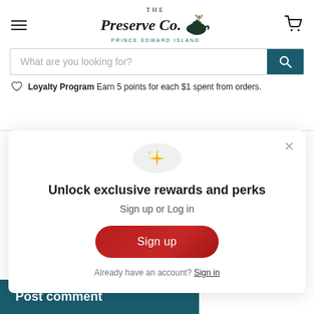[Figure (logo): The Preserve Co. Prince Edward Island logo with teapot and floral illustration]
[Figure (screenshot): Search bar with 'What are you looking for?' placeholder and teal search button]
Loyalty Program Earn 5 points for each $1 spent from orders.
Message *
[Figure (screenshot): Modal popup with sparkle icon, 'Unlock exclusive rewards and perks', Sign up or Log in text, Sign up button, and 'Already have an account? Sign in' link]
Post comment